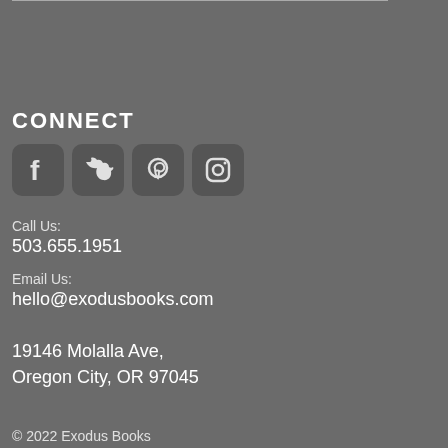CONNECT
[Figure (illustration): Four social media icons: Facebook, Twitter, Pinterest, Instagram in rounded square boxes]
Call Us:
503.655.1951
Email Us:
hello@exodusbooks.com
19146 Molalla Ave,
Oregon City, OR 97045
© 2022 Exodus Books